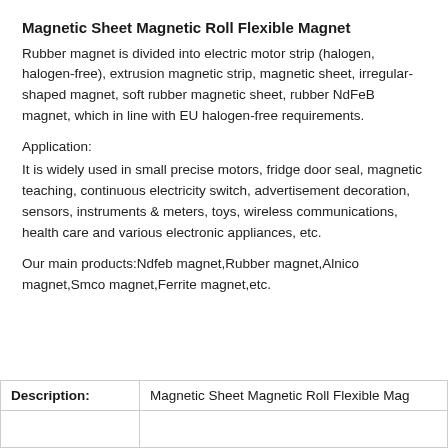Magnetic Sheet Magnetic Roll Flexible Magnet
Rubber magnet is divided into electric motor strip (halogen, halogen-free), extrusion magnetic strip, magnetic sheet, irregular-shaped magnet, soft rubber magnetic sheet, rubber NdFeB magnet, which in line with EU halogen-free requirements.
Application:
It is widely used in small precise motors, fridge door seal, magnetic teaching, continuous electricity switch, advertisement decoration, sensors, instruments & meters, toys, wireless communications, health care and various electronic appliances, etc.
Our main products:Ndfeb magnet,Rubber magnet,Alnico magnet,Smco magnet,Ferrite magnet,etc.
| Description: | Magnetic Sheet Magnetic Roll Flexible Mag... |
| --- | --- |
|  |  |